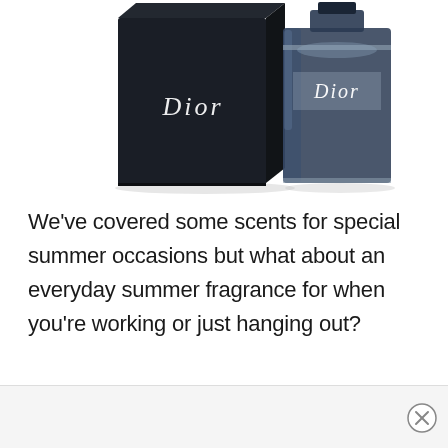[Figure (photo): Dior fragrance product photo: a dark navy/black rectangular box with 'Dior' text in silver on front, next to a glass cologne/perfume bottle with dark liquid and 'Dior' label, on white background.]
We've covered some scents for special summer occasions but what about an everyday summer fragrance for when you're working or just hanging out?